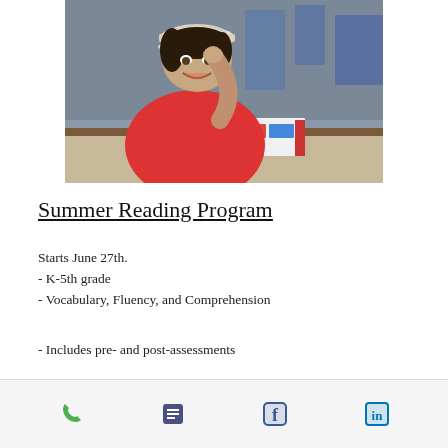[Figure (photo): A smiling boy wearing a white cap and red shirt, leaning on a table and reading/looking at an open book with colorful pages.]
Summer Reading Program
Starts June 27th.
- K-5th grade
- Vocabulary, Fluency, and Comprehension
- Includes pre- and post-assessments
Phone | List | Facebook | LinkedIn icons